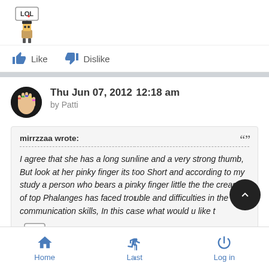[Figure (illustration): LOL sticker with cartoon character holding a sign]
Like   Dislike
Thu Jun 07, 2012 12:18 am
by Patti
mirrzzaa wrote:
I agree that she has a long sunline and a very strong thumb, But look at her pinky finger its too Short and according to my study a person who bears a pinky finger little the the crease of top Phalanges has faced trouble and difficulties in the communication skills, In this case what would u like t
[Figure (illustration): LOL sticker with cartoon character holding a sign]
Home   Last   Log in